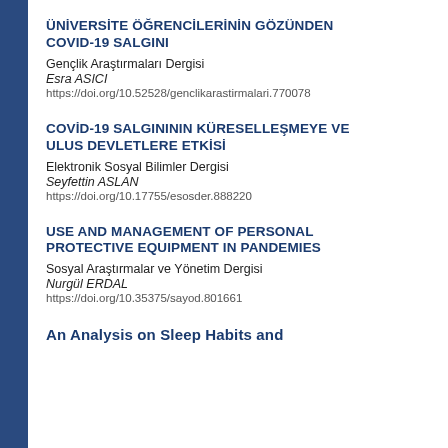ÜNİVERSİTE ÖĞRENCİLERİNİN GÖZÜNDEN COVID-19 SALGINI
Gençlik Araştırmaları Dergisi
Esra ASICI
https://doi.org/10.52528/genclikarastirmalari.770078
COVİD-19 SALGINININ KÜRESELLEŞMEYE VE ULUS DEVLETLERE ETKİSİ
Elektronik Sosyal Bilimler Dergisi
Seyfettin ASLAN
https://doi.org/10.17755/esosder.888220
USE AND MANAGEMENT OF PERSONAL PROTECTIVE EQUIPMENT IN PANDEMIES
Sosyal Araştırmalar ve Yönetim Dergisi
Nurgül ERDAL
https://doi.org/10.35375/sayod.801661
An Analysis on Sleep Habits and